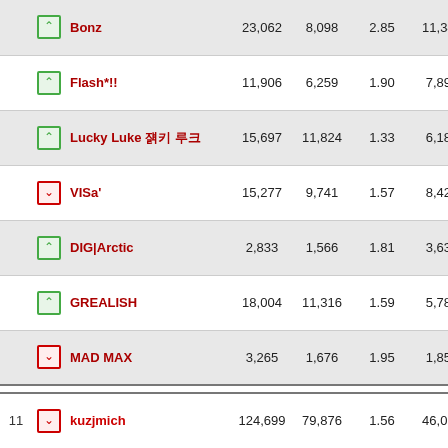|  |  | Name | Col1 | Col2 | Col3 | Col4 | Col5 |
| --- | --- | --- | --- | --- | --- | --- | --- |
|  | ▲ | Bonz | 23,062 | 8,098 | 2.85 | 11,340 | 4… |
|  | ▲ | Flash*!! | 11,906 | 6,259 | 1.90 | 7,892 | 6… |
|  | ▲ | Lucky Luke 럭키 루크 | 15,697 | 11,824 | 1.33 | 6,185 | 3… |
|  | ▼ | VISa' | 15,277 | 9,741 | 1.57 | 8,425 | 5… |
|  | ▲ | DIG|Arctic | 2,833 | 1,566 | 1.81 | 3,639 | 12… |
|  | ▲ | GREALISH | 18,004 | 11,316 | 1.59 | 5,788 | 3… |
|  | ▼ | MAD MAX | 3,265 | 1,676 | 1.95 | 1,857 | 5… |
| 11 | ▼ | kuzjmich | 124,699 | 79,876 | 1.56 | 46,039 | 3… |
| 12 | ▼ | KillingBΩ†™ @ Knuddelbär | 42,860 | 29,405 | 1.46 | 21,517 | 5… |
| 13 | ▼ | Isildur | 19,408 | 7,833 | 2.48 | 4,509 | 2… |
| 14 | ▲ | raul2004ro | 4,181 | 2,875 | 1.45 | 3,437 | 8… |
| 15 | ▲▼ | KURTREY-TÜRK | 17,460 | 13,045 | 1.34 | 6,153 | … |